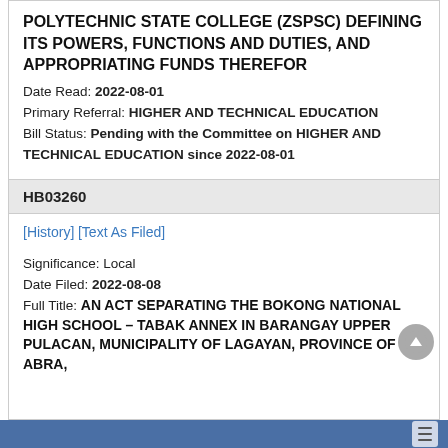POLYTECHNIC STATE COLLEGE (ZSPSC) DEFINING ITS POWERS, FUNCTIONS AND DUTIES, AND APPROPRIATING FUNDS THEREFOR
Date Read: 2022-08-01
Primary Referral: HIGHER AND TECHNICAL EDUCATION
Bill Status: Pending with the Committee on HIGHER AND TECHNICAL EDUCATION since 2022-08-01
HB03260
[History] [Text As Filed]
Significance: Local
Date Filed: 2022-08-08
Full Title: AN ACT SEPARATING THE BOKONG NATIONAL HIGH SCHOOL – TABAK ANNEX IN BARANGAY UPPER PULACAN, MUNICIPALITY OF LAGAYAN, PROVINCE OF ABRA, AND...